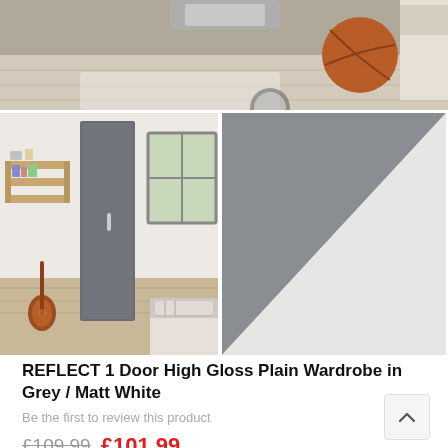[Figure (photo): Top portion of a product page showing a room scene with wooden floor, basketball, and furniture items from above]
[Figure (photo): Room scene showing a tall grey wardrobe door in a bedroom with wooden shelving unit, guitar, and bed with striped pillow]
[Figure (illustration): Grey and white diagonal colour swatch showing the wardrobe's Grey / Matt White finish]
REFLECT 1 Door High Gloss Plain Wardrobe in Grey / Matt White
Be the first to review this product
£109.99 £101.99
Wardrobe: Height: 180cm x Width: 38cm x Depth: 4